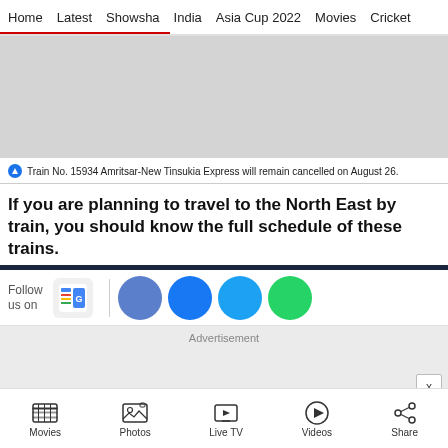Home | Latest | Showsha | India | Asia Cup 2022 | Movies | Cricket
[Figure (other): Gray placeholder image area at the top of the article]
Train No. 15934 Amritsar-New Tinsukia Express will remain cancelled on August 26.
If you are planning to travel to the North East by train, you should know the full schedule of these trains.
[Figure (infographic): Social media follow bar with Google News icon and colored circle buttons for Facebook, Twitter, WhatsApp]
[Figure (other): Advertisement placeholder box with X close button]
Movies | Photos | Live TV | Videos | Share